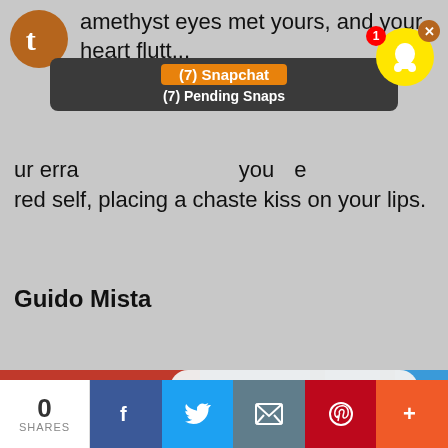[Figure (screenshot): Tumblr blog page screenshot showing anime fanfiction text with Snapchat notification overlay, a modal dialog 'Click OK To Continue', an anime illustration in the background, and a social share bar at the bottom.]
amethyst eyes met yours, and your heart flutt... ur erra... you... e red self, placing a chaste kiss on your lips.
Guido Mista
(7) Snapchat
(7) Pending Snaps
Click OK To Continue
OK
0
SHARES